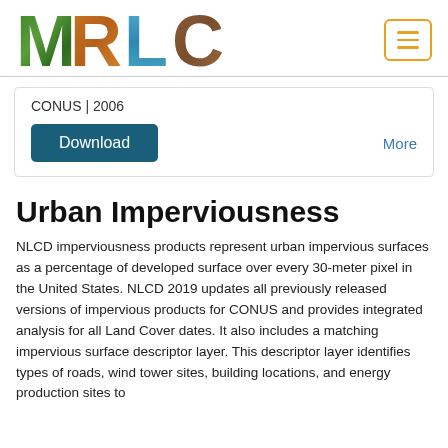[Figure (logo): MRLC logo with nature-themed letters M, R, L, C]
CONUS | 2006
Download
More
Urban Imperviousness
NLCD imperviousness products represent urban impervious surfaces as a percentage of developed surface over every 30-meter pixel in the United States. NLCD 2019 updates all previously released versions of impervious products for CONUS and provides integrated analysis for all Land Cover dates. It also includes a matching impervious surface descriptor layer. This descriptor layer identifies types of roads, wind tower sites, building locations, and energy production sites to